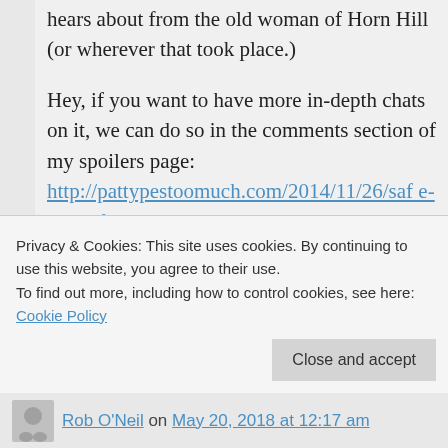hears about from the old woman of Horn Hill (or wherever that took place.)
Hey, if you want to have more in-depth chats on it, we can do so in the comments section of my spoilers page: http://pattypestoomuch.com/2014/11/26/safe-place-for-spoilers/ , I'd be happy to go more in depth.
Regardless, I really appreciate the feedback, thanks again!
Privacy & Cookies: This site uses cookies. By continuing to use this website, you agree to their use. To find out more, including how to control cookies, see here: Cookie Policy
Rob O'Neil on May 20, 2018 at 12:17 am